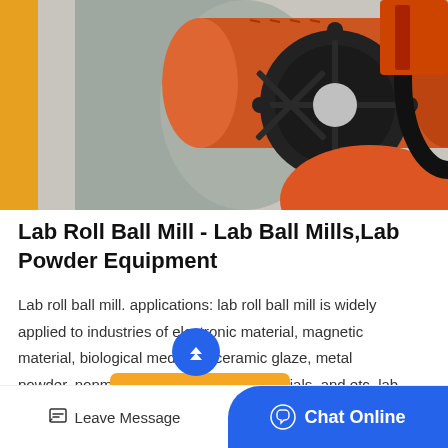[Figure (photo): Industrial ball mill equipment - large orange cylindrical drum with black gear wheel/sprocket mechanism, grey pipes and industrial hardware on concrete floor]
Lab Roll Ball Mill - Lab Ball Mills,Lab Powder Equipment
Lab roll ball mill. applications: lab roll ball mill is widely applied to industries of electronic material, magnetic material, biological medicine, ceramic glaze, metal powder, nonmetallic minerals, new materials, and etc. lab roll mill is a kind of equipment used for...